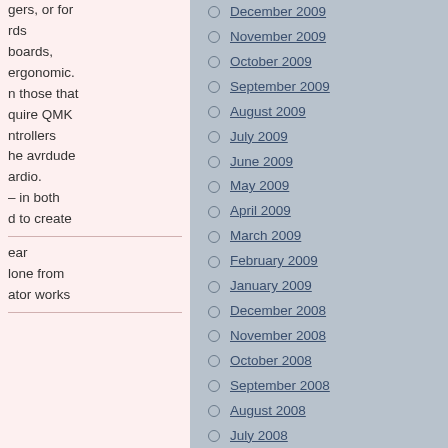gers, or for
rds
boards,
ergonomic.
n those that
quire QMK
ntrollers
he avrdude
ardio.
– in both
d to create
ear
lone from
ator works
t about
g it in
dy briefly
plication
December 2009
November 2009
October 2009
September 2009
August 2009
July 2009
June 2009
May 2009
April 2009
March 2009
February 2009
January 2009
December 2008
November 2008
October 2008
September 2008
August 2008
July 2008
June 2008
May 2008
April 2008
March 2008
February 2008
January 2008
December 2007
November 2007
October 2007